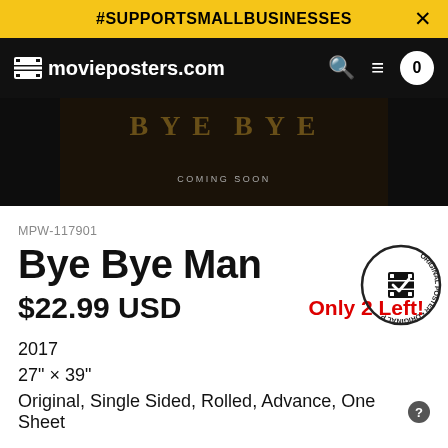#SUPPORTSMALLBUSINESSES
[Figure (screenshot): movieposters.com website navigation bar with logo, search, menu, and cart icons on black background]
[Figure (photo): Dark movie poster image with 'COMING SOON' text visible]
MPW-117901
Bye Bye Man
$22.99 USD
Only 2 Left!
[Figure (logo): Original Poster circular badge/stamp with film reel icon and checkmark]
2017
27" × 39"
Original, Single Sided, Rolled, Advance, One Sheet
ADD A FINISH